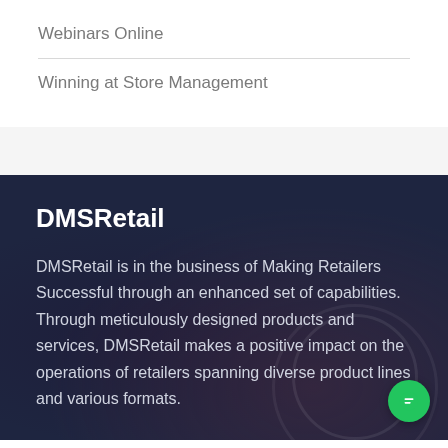Webinars Online
Winning at Store Management
DMSRetail
DMSRetail is in the business of Making Retailers Successful through an enhanced set of capabilities. Through meticulously designed products and services, DMSRetail makes a positive impact on the operations of retailers spanning diverse product lines and various formats.